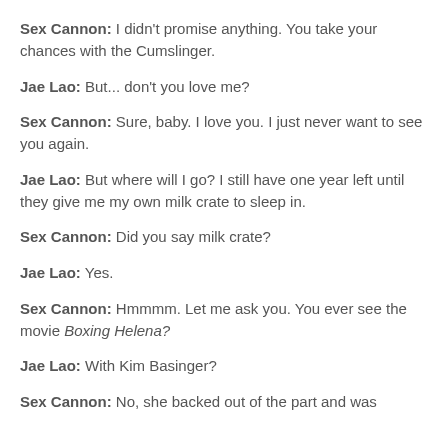Sex Cannon: I didn't promise anything. You take your chances with the Cumslinger.
Jae Lao: But... don't you love me?
Sex Cannon: Sure, baby. I love you. I just never want to see you again.
Jae Lao: But where will I go? I still have one year left until they give me my own milk crate to sleep in.
Sex Cannon: Did you say milk crate?
Jae Lao: Yes.
Sex Cannon: Hmmmm. Let me ask you. You ever see the movie Boxing Helena?
Jae Lao: With Kim Basinger?
Sex Cannon: No, she backed out of the part and was